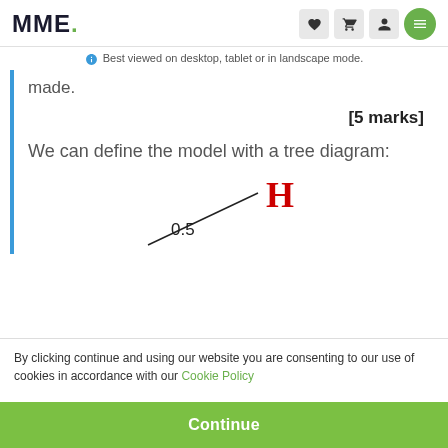MME.
Best viewed on desktop, tablet or in landscape mode.
made.
[5 marks]
We can define the model with a tree diagram:
[Figure (other): Partial tree diagram showing a branch labeled 0.5 leading to H (in red)]
By clicking continue and using our website you are consenting to our use of cookies in accordance with our Cookie Policy
Continue